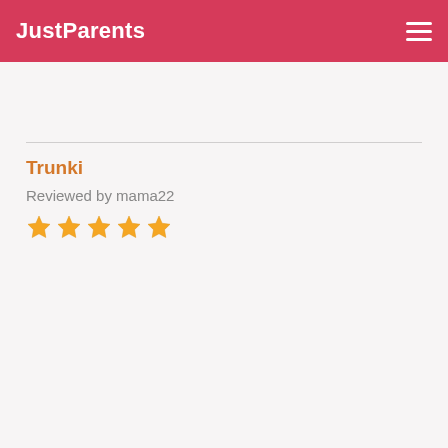JustParents
Trunki
Reviewed by mama22
[Figure (other): Five orange/yellow star rating icons indicating a 5-star review]